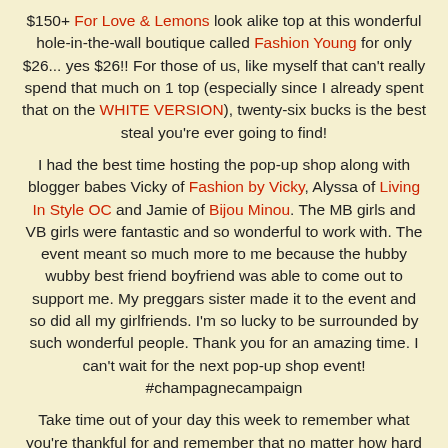$150+ For Love & Lemons look alike top at this wonderful hole-in-the-wall boutique called Fashion Young for only $26... yes $26!! For those of us, like myself that can't really spend that much on 1 top (especially since I already spent that on the WHITE VERSION), twenty-six bucks is the best steal you're ever going to find!

I had the best time hosting the pop-up shop along with blogger babes Vicky of Fashion by Vicky, Alyssa of Living In Style OC and Jamie of Bijou Minou. The MB girls and VB girls were fantastic and so wonderful to work with. The event meant so much more to me because the hubby wubby best friend boyfriend was able to come out to support me. My preggars sister made it to the event and so did all my girlfriends. I'm so lucky to be surrounded by such wonderful people. Thank you for an amazing time. I can't wait for the next pop-up shop event! #champagnecampaign

Take time out of your day this week to remember what you're thankful for and remember that no matter how hard your day is, it could always be worse. Be happy and enjoy the little things in life. Thank you to all my readers and